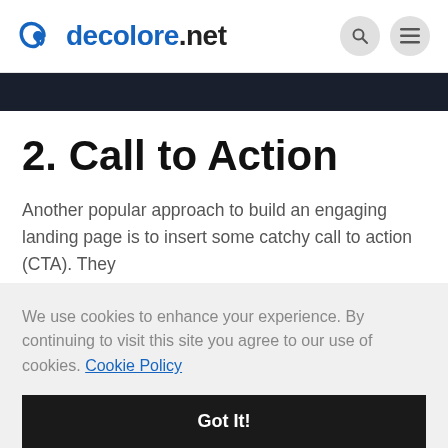decolore.net
[Figure (screenshot): Dark banner image strip at the top of the article]
2. Call to Action
Another popular approach to build an engaging landing page is to insert some catchy call to action (CTA). They
We use cookies to enhance your experience. By continuing to visit this site you agree to our use of cookies. Cookie Policy
Got It!